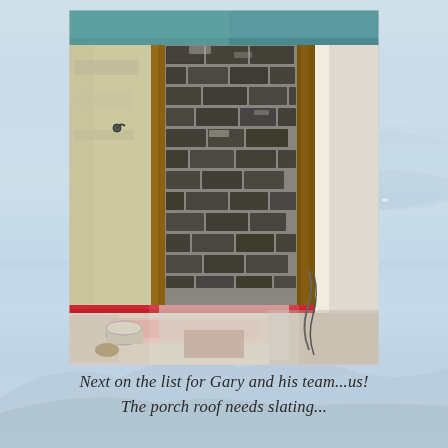[Figure (photo): Interior renovation photo showing exposed dark stone/block wall with mortar, wooden framing on sides, debris and pink insulation on the floor, a red baseboard, and teal-painted ceiling visible at the top. A hook is visible on the left wall.]
Next on the list for Gary and his team...us! The porch roof needs slating...